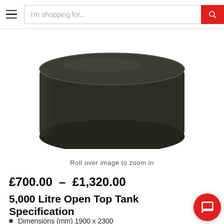I'm shopping for...
[Figure (photo): Dark grey/black cylindrical open top tank viewed from above/side angle, showing round shape and smooth matte surface]
Roll over image to zoom in
£700.00  –  £1,320.00
5,000 Litre Open Top Tank Specification
Dimensions (mm) 1900 x 2300
Colours: Available in black, boat blue, dark green or colour